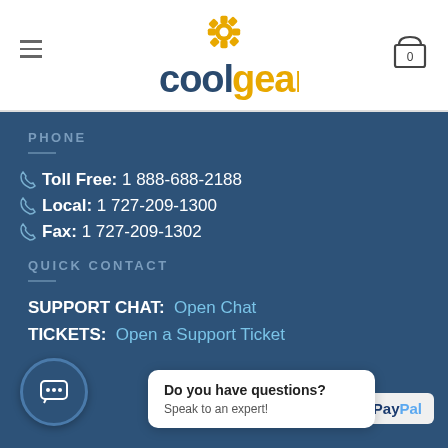[Figure (logo): CoolGear logo with gear icon above the letters, 'cool' in dark blue and 'gear' in gold/yellow]
PHONE
Toll Free: 1 888-688-2188
Local: 1 727-209-1300
Fax: 1 727-209-1302
QUICK CONTACT
SUPPORT CHAT: Open Chat
TICKETS: Open a Support Ticket
Do you have questions? Speak to an expert!